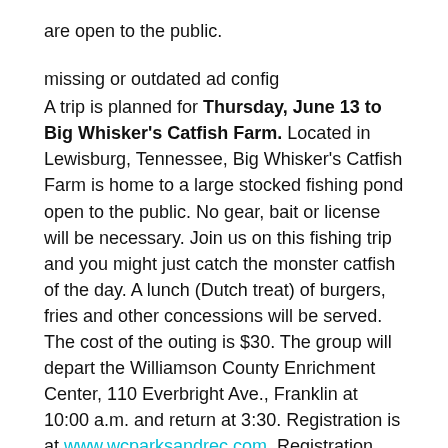are open to the public.
missing or outdated ad config
A trip is planned for Thursday, June 13 to Big Whisker's Catfish Farm. Located in Lewisburg, Tennessee, Big Whisker's Catfish Farm is home to a large stocked fishing pond open to the public. No gear, bait or license will be necessary. Join us on this fishing trip and you might just catch the monster catfish of the day. A lunch (Dutch treat) of burgers, fries and other concessions will be served. The cost of the outing is $30. The group will depart the Williamson County Enrichment Center, 110 Everbright Ave., Franklin at 10:00 a.m. and return at 3:30. Registration is at www.wcparksandrec.com. Registration code #14742.